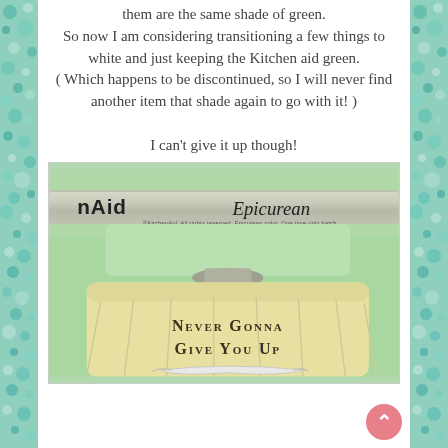them are the same shade of green. So now I am considering transitioning a few things to white and just keeping the Kitchen aid green. ( Which happens to be discontinued, so I will never find another item that shade again to go with it! ) I can't give it up though!
[Figure (photo): Close-up photo of a green KitchenAid mixer (model 'Epicurean') with a cream/yellow mixing bowl attachment that has text printed on it reading 'NEVER GONNA GIVE YOU UP' with a decorative ribbon scroll illustration below.]